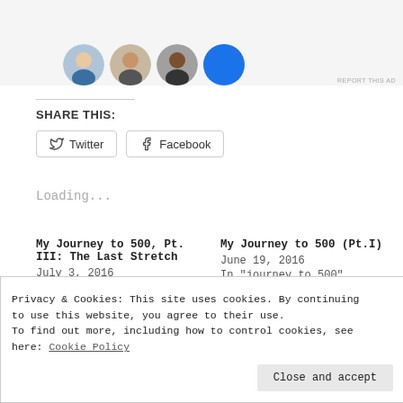[Figure (photo): Partial view of a social media or blog page showing three circular avatar photos (people) and one blue circle button, on a light gray background with 'REPORT THIS AD' text in the bottom right corner.]
SHARE THIS:
[Figure (other): Two social sharing buttons: Twitter (with bird icon) and Facebook (with f icon), both with rounded rectangular borders.]
Loading...
My Journey to 500, Pt. III: The Last Stretch
July 3, 2016
In "journey to 500"
My Journey to 500 (Pt.I)
June 19, 2016
In "journey to 500"
Passion Project #1:
Privacy & Cookies: This site uses cookies. By continuing to use this website, you agree to their use.
To find out more, including how to control cookies, see here: Cookie Policy
Close and accept